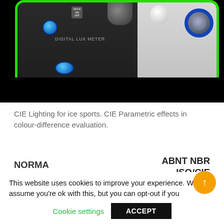[Figure (photo): Digital Lux Meter device photo with blue buttons and dial, surrounded by green border, on black background. Screenshot from a website.]
CIE Lighting for ice sports. CIE Parametric effects in colour-difference evaluation.
NORMA BRASILEIRA
ABNT NBR ISO/CIE 8995-1
Primeira edição
This website uses cookies to improve your experience. We'll assume you're ok with this, but you can opt-out if you
Cookie settings
ACCEPT